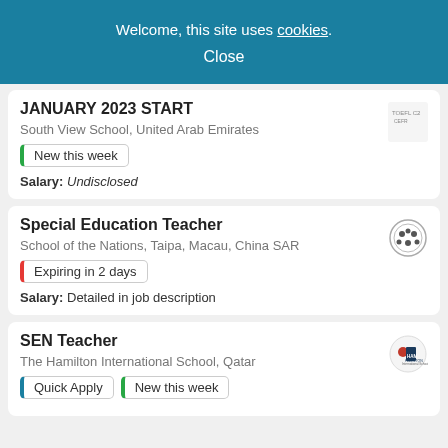Welcome, this site uses cookies.
Close
JANUARY 2023 START
South View School, United Arab Emirates
New this week
Salary: Undisclosed
Special Education Teacher
School of the Nations, Taipa, Macau, China SAR
Expiring in 2 days
Salary: Detailed in job description
SEN Teacher
The Hamilton International School, Qatar
Quick Apply
New this week